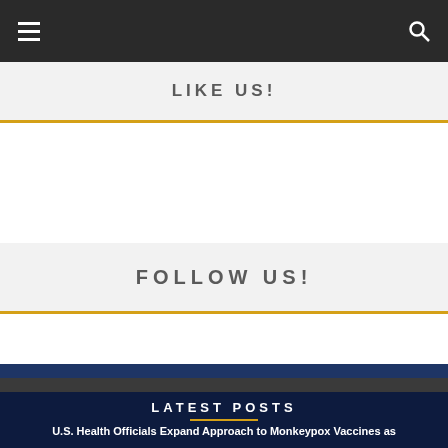LIKE US!
FOLLOW US!
LATEST POSTS
U.S. Health Officials Expand Approach to Monkeypox Vaccines as